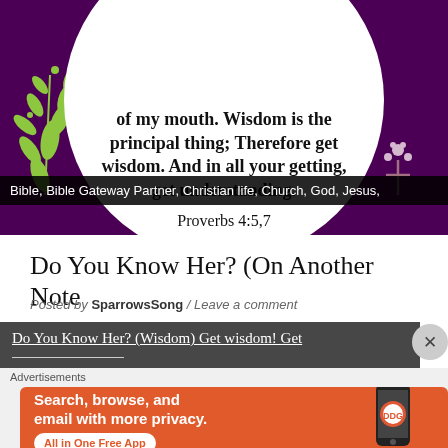[Figure (illustration): Purple background religious image with white circle containing Bible verse text: 'of my mouth. Wisdom is the principal thing; Therefore get wisdom. And in all your getting, get understanding. Proverbs 4:5,7' with decorative green plant illustration on left and small floral cross on right]
Bible, Bible Gateway Partner, Christian life, Church, God, Jesus,
Do You Know Her? (On Another Note
Posted by SparrowsSong / Leave a comment
Do You Know Her? (Wisdom) Get wisdom! Get
Advertisements
[Figure (screenshot): DuckDuckGo advertisement banner with orange background. Text: 'Search, browse, and email with more privacy. All in One Free App' with DuckDuckGo logo and phone image on right side.]